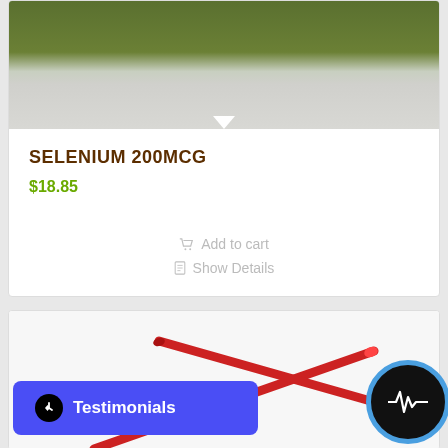[Figure (photo): Close-up of bottom portion of a green and white supplement bottle on a light background]
SELENIUM 200MCG
$18.85
Add to cart
Show Details
[Figure (photo): Two red medical catheters crossed in an X shape on a white background]
Testimonials